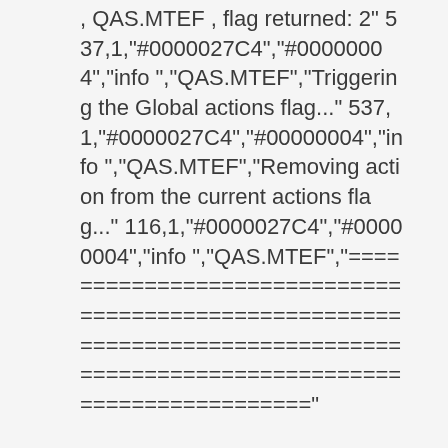, QAS.MTEF , flag returned: 2" 537,1,"#0000027C4","#00000004","info ","QAS.MTEF","Triggering the Global actions flag..." 537,1,"#0000027C4","#00000004","info ","QAS.MTEF","Removing action from the current actions flag..." 116,1,"#0000027C4","#00000004","info ","QAS.MTEF","==========================================================================================================================